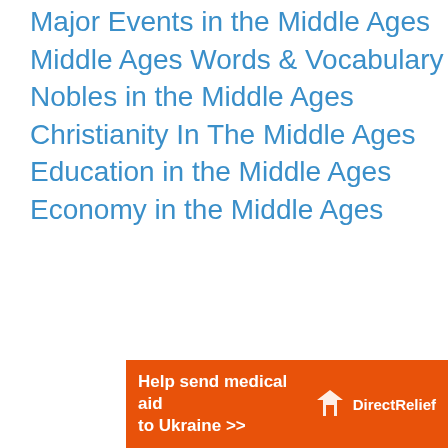Major Events in the Middle Ages
Middle Ages Words & Vocabulary
Nobles in the Middle Ages
Christianity In The Middle Ages
Education in the Middle Ages
Economy in the Middle Ages
[Figure (other): DirectRelief charity advertisement banner: orange background with white text 'Help send medical aid to Ukraine >>' and DirectRelief logo on the right]